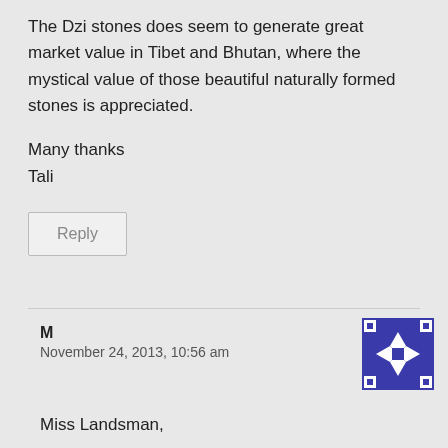The Dzi stones does seem to generate great market value in Tibet and Bhutan, where the mystical value of those beautiful naturally formed stones is appreciated.
Many thanks
Tali
Reply
M
November 24, 2013, 10:56 am
[Figure (illustration): Avatar icon: blue and white geometric pattern with arrows pointing outward in cardinal directions on a dark blue background]
Miss Landsman,
Thank you for re-posting in regards to my post.
My grandfather died in 1975 – 8 years before I